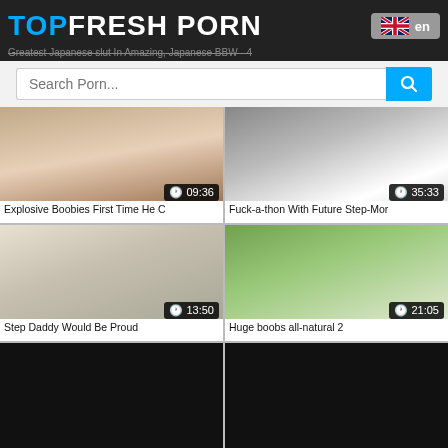TOPFRESH PORN
Greatest Japanese slut In Amazing, Japanese BBW - 4
Search Porn...
[Figure (screenshot): Video thumbnail - Explosive Boobies First Time He C, duration 09:36]
Explosive Boobies First Time He C
[Figure (screenshot): Video thumbnail - Fuck-a-thon With Future Step-Mor, duration 35:33]
Fuck-a-thon With Future Step-Mor
[Figure (screenshot): Video thumbnail - Step Daddy Would Be Proud, duration 13:50]
Step Daddy Would Be Proud
[Figure (screenshot): Video thumbnail - Huge boobs all-natural 2, duration 21:05]
Huge boobs all-natural 2
[Figure (screenshot): Video thumbnail - dark/black placeholder]
[Figure (screenshot): Video thumbnail - dark/black placeholder]